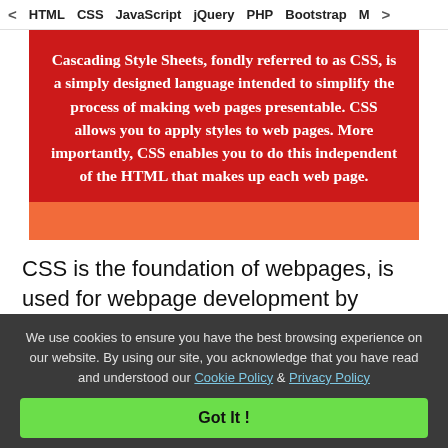< HTML   CSS   JavaScript   jQuery   PHP   Bootstrap   M>
[Figure (illustration): Red background banner with white bold text describing CSS, with an orange strip at the bottom. Text reads: Cascading Style Sheets, fondly referred to as CSS, is a simply designed language intended to simplify the process of making web pages presentable. CSS allows you to apply styles to web pages. More importantly, CSS enables you to do this independent of the HTML that makes up each web page.]
CSS is the foundation of webpages, is used for webpage development by styling websites and
We use cookies to ensure you have the best browsing experience on our website. By using our site, you acknowledge that you have read and understood our Cookie Policy & Privacy Policy
Got It !